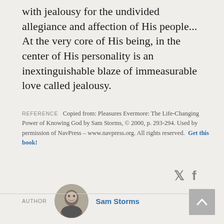with jealousy for the undivided allegiance and affection of His people... At the very core of His being, in the center of His personality is an inextinguishable blaze of immeasurable love called jealousy.
REFERENCE   Copied from: Pleasures Evermore: The Life-Changing Power of Knowing God by Sam Storms, © 2000, p. 293-294. Used by permission of NavPress – www.navpress.org. All rights reserved.  Get this book!
AUTHOR   Sam Storms
TOPIC   God-Jealousy